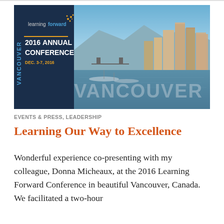[Figure (illustration): Learning Forward 2016 Annual Conference banner with Vancouver cityscape photo. Shows 'learningforward' logo with orange dots, '2016 ANNUAL CONFERENCE' text in white/yellow on dark blue left panel, 'DEC. 3-7, 2016' in orange, 'VANCOUVER' text rotated vertically, large 'VANCOUVER' watermark text over aerial photo of Vancouver harbor and skyline.]
EVENTS & PRESS, LEADERSHIP
Learning Our Way to Excellence
Wonderful experience co-presenting with my colleague, Donna Micheaux, at the 2016 Learning Forward Conference in beautiful Vancouver, Canada.  We facilitated a two-hour